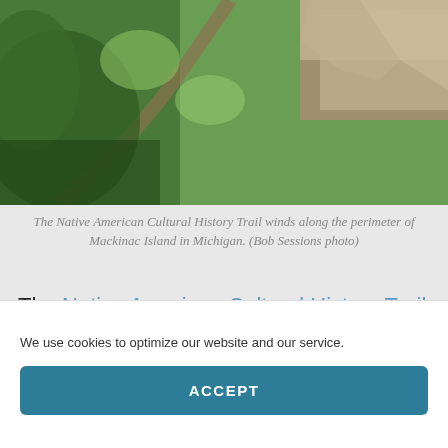[Figure (photo): Aerial/path view of the Native American Cultural History Trail winding through green trees and rocky terrain on Mackinac Island, Michigan.]
The Native American Cultural History Trail winds along the perimeter of Mackinac Island in Michigan. (Bob Sessions photo)
The Native American Cultural History Trail is a much-needed addition to Mackinac Island, a reminder to the thousands of tourists who come here each year that this place has been sacred for
We use cookies to optimize our website and our service.
ACCEPT